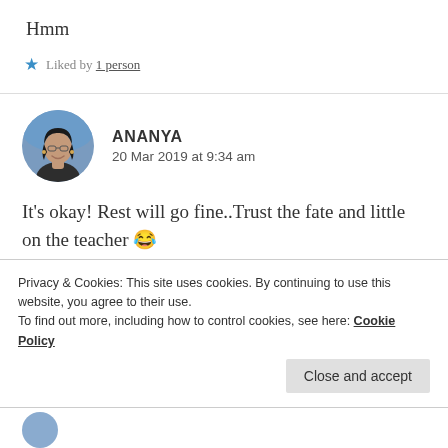Hmm
★ Liked by 1 person
[Figure (photo): Circular avatar photo of a young woman with glasses, dark hair, smiling, outdoors]
ANANYA
20 Mar 2019 at 9:34 am
It's okay! Rest will go fine..Trust the fate and little on the teacher 😂
Privacy & Cookies: This site uses cookies. By continuing to use this website, you agree to their use.
To find out more, including how to control cookies, see here: Cookie Policy
Close and accept